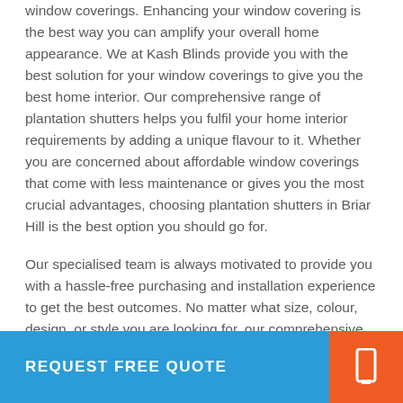window coverings. Enhancing your window covering is the best way you can amplify your overall home appearance. We at Kash Blinds provide you with the best solution for your window coverings to give you the best home interior. Our comprehensive range of plantation shutters helps you fulfil your home interior requirements by adding a unique flavour to it. Whether you are concerned about affordable window coverings that come with less maintenance or gives you the most crucial advantages, choosing plantation shutters in Briar Hill is the best option you should go for.
Our specialised team is always motivated to provide you with a hassle-free purchasing and installation experience to get the best outcomes. No matter what size, colour, design, or style you are looking for, our comprehensive range of plantation shutters in Briar Hill will always give you utmost satisfaction and perfectly suits your home interior.
REQUEST FREE QUOTE